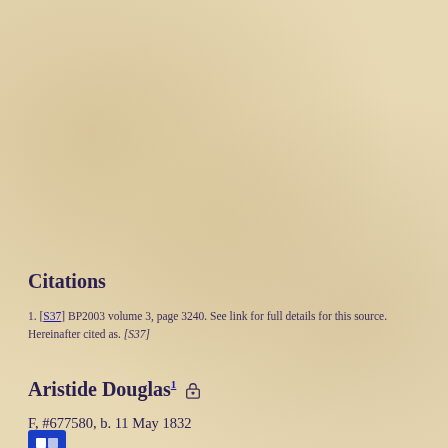Citations
1. [S37] BP2003 volume 3, page 3240. See link for full details for this source. Hereinafter cited as. [S37]
Aristide Douglas1
F, #677580, b. 11 May 1832